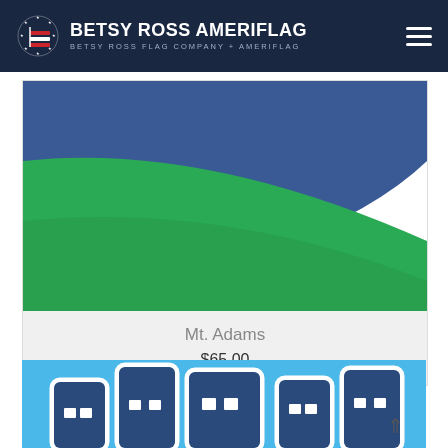BETSY ROSS AMERIFLAG — BETSY ROSS FLAG COMPANY + AMERIFLAG
[Figure (illustration): Mt. Adams flag product image showing blue and green color blocks on flag design]
Mt. Adams
$65.00
[Figure (illustration): Second product flag image showing light blue background with dark blue building/skyline graphic icons in white outline style]